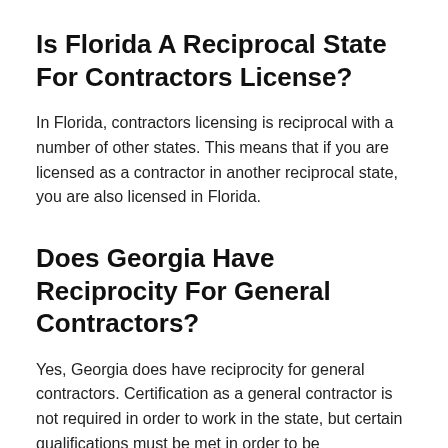Is Florida A Reciprocal State For Contractors License?
In Florida, contractors licensing is reciprocal with a number of other states. This means that if you are licensed as a contractor in another reciprocal state, you are also licensed in Florida.
Does Georgia Have Reciprocity For General Contractors?
Yes, Georgia does have reciprocity for general contractors. Certification as a general contractor is not required in order to work in the state, but certain qualifications must be met in order to be